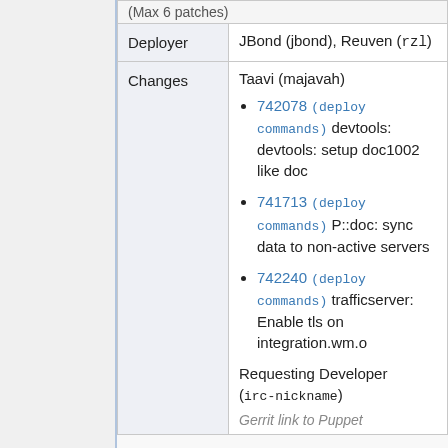|  |  |
| --- | --- |
| (Max 6 patches) |  |
| Deployer | JBond (jbond), Reuven (rzl) |
| Changes | Taavi (majavah)
• 742078 (deploy commands) devtools: devtools: setup doc1002 like doc
• 741713 (deploy commands) P::doc: sync data to non-active servers
• 742240 (deploy commands) trafficserver: Enable tls on integration.wm.o
Requesting Developer (irc-nickname)
Gerrit link to Puppet... |